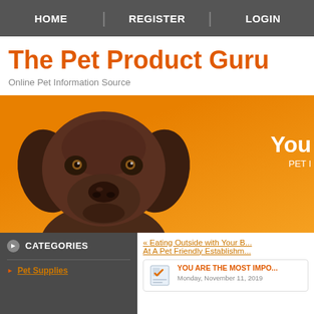HOME | REGISTER | LOGIN
The Pet Product Guru
Online Pet Information Source
[Figure (photo): Hero banner with a chocolate Labrador dog facing camera on an orange gradient background, with partial text 'You' and 'PET I' visible on the right side.]
CATEGORIES
Pet Supplies
« Eating Outside with Your B... At A Pet Friendly Establishm...
YOU ARE THE MOST IMPO... Monday, November 11, 2019